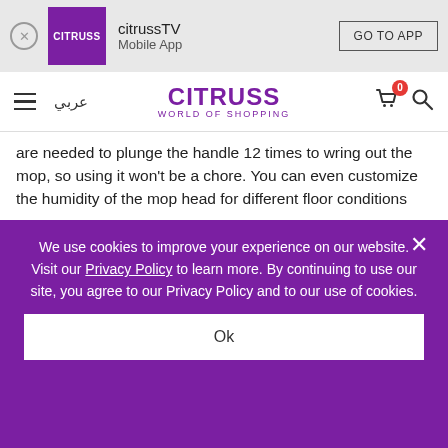citrussTV Mobile App – GO TO APP
CITRUSS WORLD OF SHOPPING – عربي
are needed to plunge the handle 12 times to wring out the mop, so using it won't be a chore. You can even customize the humidity of the mop head for different floor conditions
Eco-Friendly Green Design — only half a gallon of water (2.5L) is needed per clean. By using the compact and lightweight self-cleaning mop, your household consumes about 80% less water. The
We use cookies to improve your experience on our website. Visit our Privacy Policy to learn more. By continuing to use our site, you agree to our Privacy Policy and to our use of cookies.
Ok